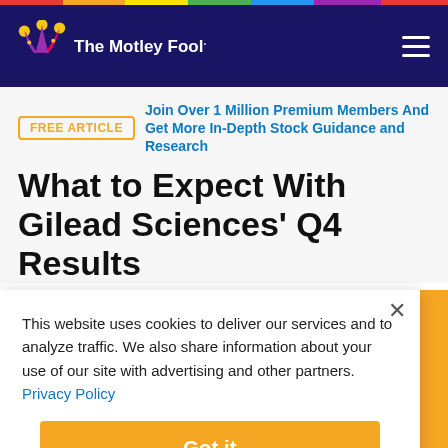The Motley Fool
FREE ARTICLE | Join Over 1 Million Premium Members And Get More In-Depth Stock Guidance and Research
What to Expect With Gilead Sciences' Q4 Results
This website uses cookies to deliver our services and to analyze traffic. We also share information about your use of our site with advertising and other partners. Privacy Policy
Got it
Cookie Settings